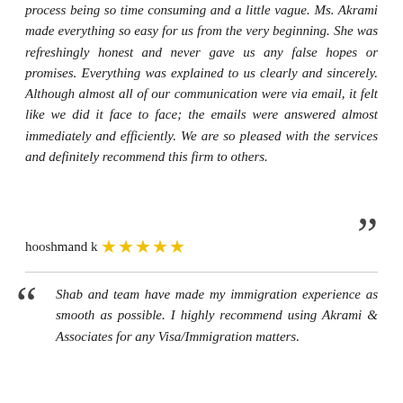process being so time consuming and a little vague. Ms. Akrami made everything so easy for us from the very beginning. She was refreshingly honest and never gave us any false hopes or promises. Everything was explained to us clearly and sincerely. Although almost all of our communication were via email, it felt like we did it face to face; the emails were answered almost immediately and efficiently. We are so pleased with the services and definitely recommend this firm to others.
hooshmand k ★★★★★
Shab and team have made my immigration experience as smooth as possible. I highly recommend using Akrami & Associates for any Visa/Immigration matters.